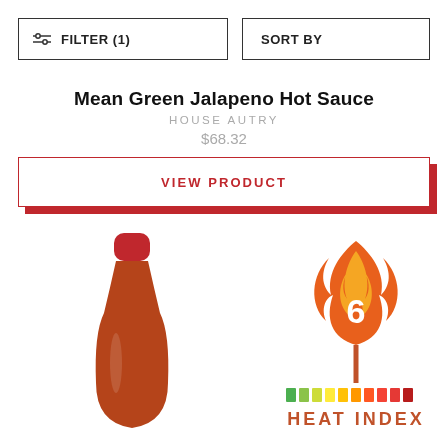FILTER (1)
SORT BY
Mean Green Jalapeno Hot Sauce
HOUSE AUTRY
$68.32
VIEW PRODUCT
[Figure (photo): Red hot sauce bottle, top portion visible]
[Figure (infographic): Heat Index badge showing a flame with number 6 and colored bar scale below, with text HEAT INDEX]